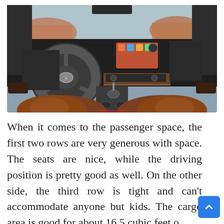[Figure (photo): Interior view of a Nissan SUV showing the dashboard, steering wheel, center console with gear shift, infotainment screen, and brown leather seats from a rear-facing perspective. Desert landscape visible through the windshield.]
When it comes to the passenger space, the first two rows are very generous with space. The seats are nice, while the driving position is pretty good as well. On the other side, the third row is tight and can't accommodate anyone but kids. The cargo area is good for about 16.5 cubic feet o